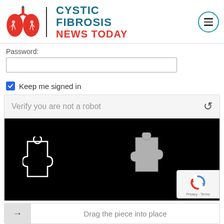[Figure (logo): Cystic Fibrosis News Today logo with red lungs illustration and teal/red text]
Password:
[Figure (screenshot): Password input field (empty text box)]
Keep me signed in
Verify you are not a robot
[Figure (screenshot): CAPTCHA puzzle with black background showing two puzzle pieces — one outlined on the left, one filled gray on the right]
Drag the piece into place